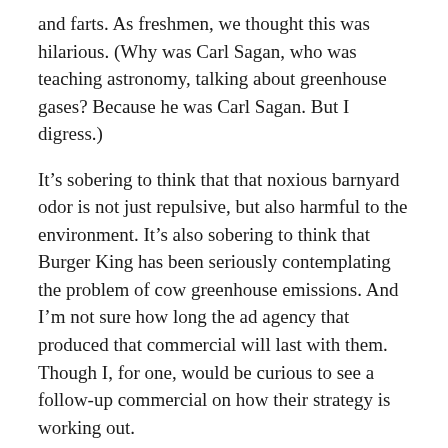and farts. As freshmen, we thought this was hilarious. (Why was Carl Sagan, who was teaching astronomy, talking about greenhouse gases? Because he was Carl Sagan. But I digress.)
It’s sobering to think that that noxious barnyard odor is not just repulsive, but also harmful to the environment. It’s also sobering to think that Burger King has been seriously contemplating the problem of cow greenhouse emissions. And I’m not sure how long the ad agency that produced that commercial will last with them. Though I, for one, would be curious to see a follow-up commercial on how their strategy is working out.
I would also be fascinated to be driving through farmland and see a herd of cows roaming the fields encased in giant plastic bubbles. How would they eat? What would happen to the methane when the cattle were released from their containers, as surely they must be at some time, if only to